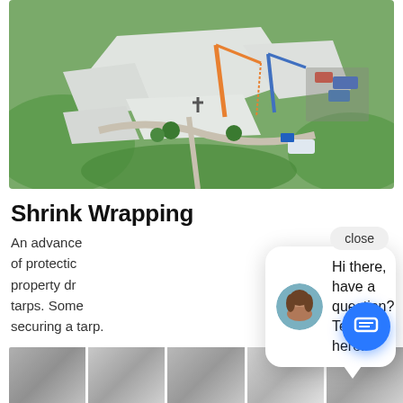[Figure (photo): Aerial drone photograph of a white-roofed building complex (appears to be a church) with green grounds, palm trees, construction cranes, and vehicles in parking areas]
Shrink Wrapping
An advance[d form] of protectic[on for your] property dr[amage from] tarps. Some[times] securing a tarp.
[Figure (screenshot): Chat popup widget with close button, avatar of a woman, and message: Hi there, have a question? Text us here. Blue chat button at bottom right.]
[Figure (photo): Bottom strip of thumbnail images showing shrink wrapping material and application]